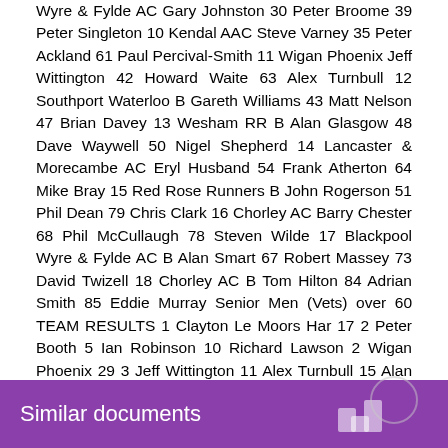Wyre & Fylde AC Gary Johnston 30 Peter Broome 39 Peter Singleton 10 Kendal AAC Steve Varney 35 Peter Ackland 61 Paul Percival-Smith 11 Wigan Phoenix Jeff Wittington 42 Howard Waite 63 Alex Turnbull 12 Southport Waterloo B Gareth Williams 43 Matt Nelson 47 Brian Davey 13 Wesham RR B Alan Glasgow 48 Dave Waywell 50 Nigel Shepherd 14 Lancaster & Morecambe AC Eryl Husband 54 Frank Atherton 64 Mike Bray 15 Red Rose Runners B John Rogerson 51 Phil Dean 79 Chris Clark 16 Chorley AC Barry Chester 68 Phil McCullaugh 78 Steven Wilde 17 Blackpool Wyre & Fylde AC B Alan Smart 67 Robert Massey 73 David Twizell 18 Chorley AC B Tom Hilton 84 Adrian Smith 85 Eddie Murray Senior Men (Vets) over 60 TEAM RESULTS 1 Clayton Le Moors Har 17 2 Peter Booth 5 Ian Robinson 10 Richard Lawson 2 Wigan Phoenix 29 3 Jeff Wittington 11 Alex Turnbull 15 Alan Burns 3 Blackpool Wyre & Fylde AC Robert Massey 18 John Winters 20 Bernard Singleton 4 Chorley AC 52 7 Barry Chester 21 Tom Hilton 24 Adrian Smith
Similar documents